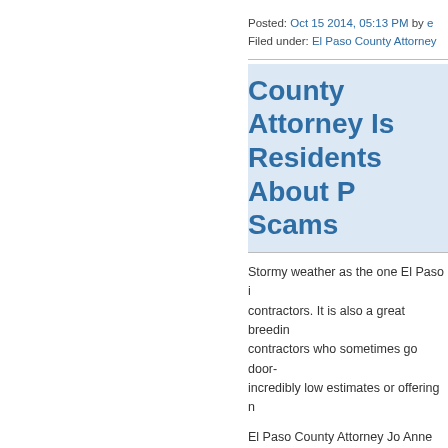Posted: Oct 15 2014, 05:13 PM by e… Filed under: El Paso County Attorney…
County Attorney Is… Residents About P… Scams
Stormy weather as the one El Paso i… contractors. It is also a great breedin… contractors who sometimes go door-… incredibly low estimates or offering n…
El Paso County Attorney Jo Anne Be… having problems with their roofs and…
· Hire only licensed or bonded contra… ones who can offer you some peace…
· Do not be rushed into signing any c… sales tactics, such as today-only disc…
· Always sign a detailed contract for t… writing.
· Before deciding to hire a contractor…